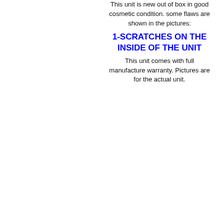This unit is new out of box in good cosmetic condition. some flaws are shown in the pictures:
1-SCRATCHES ON THE INSIDE OF THE UNIT
This unit comes with full manufacture warranty. Pictures are for the actual unit.